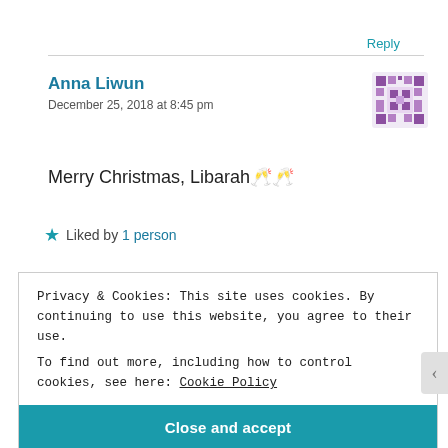Reply
Anna Liwun
December 25, 2018 at 8:45 pm
[Figure (illustration): Purple pixel/mosaic avatar icon for user Anna Liwun]
Merry Christmas, Libarah 🥂🥂
★ Liked by 1 person
Privacy & Cookies: This site uses cookies. By continuing to use this website, you agree to their use.
To find out more, including how to control cookies, see here: Cookie Policy
Close and accept